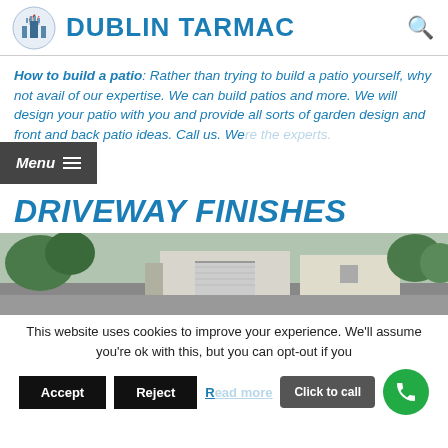DUBLIN TARMAC
How to build a patio: Rather than trying to build a patio yourself, why not avail of our expertise. We can build patios and more. We will design your patio with you and provide all sorts of garden design and front and back patio ideas. Call us. We are the experts.
DRIVEWAY FINISHES
[Figure (photo): Photo of a driveway with garage and house exterior]
This website uses cookies to improve your experience. We'll assume you're ok with this, but you can opt-out if you wish.
Accept | Reject | Read more | Click to call